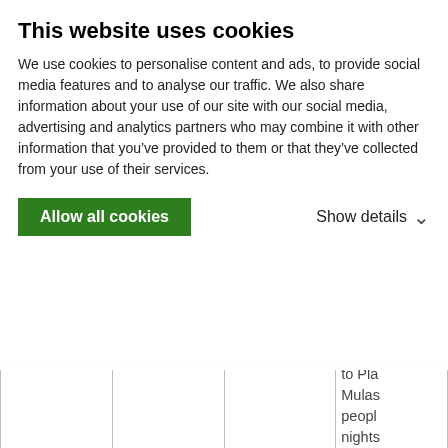This website uses cookies
We use cookies to personalise content and ads, to provide social media features and to analyse our traffic. We also share information about your use of our site with our social media, advertising and analytics partners who may combine it with other information that you’ve provided to them or that they’ve collected from your use of their services.
Allow all cookies
Show details
|  |  |  | to Pla Mulas peopl nights Conflu and u to hike Plaza Franc acclin trip. |
|  |  |  |  |